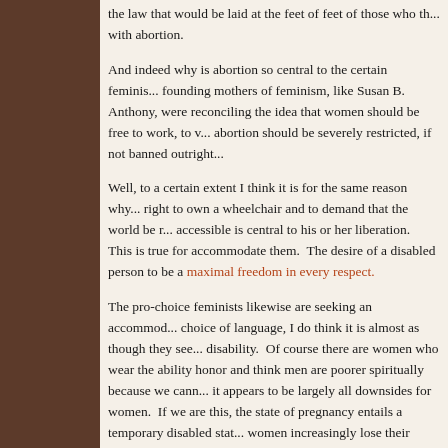the law that would be laid at the feet of feet of those who th... with abortion.
And indeed why is abortion so central to the certain feminis... founding mothers of feminism, like Susan B. Anthony, were reconciling the idea that women should be free to work, to v... abortion should be severely restricted, if not banned outright...
Well, to a certain extent I think it is for the same reason why... right to own a wheelchair and to demand that the world be r... accessible is central to his or her liberation. This is true for accommodate them. The desire of a disabled person to be a maximal freedom in every respect.
The pro-choice feminists likewise are seeking an accommod... choice of language, I do think it is almost as though they see... disability. Of course there are women who wear the ability honor and think men are poorer spiritually because we cann... it appears to be largely all downsides for women. If we are this, the state of pregnancy entails a temporary disabled stat... women increasingly lose their ability to operate effectively... disabled that the condition can end... And I know...